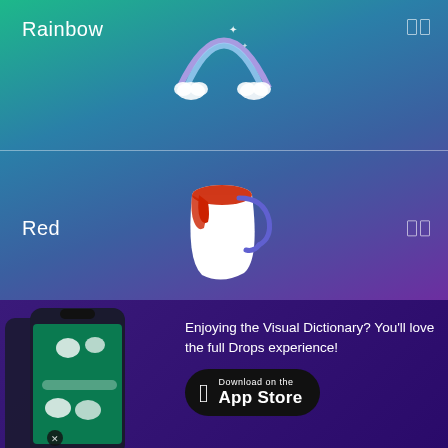Rainbow
[Figure (illustration): Rainbow with clouds emoji icon]
Red
[Figure (illustration): Red paint bucket icon with dripping red paint]
Silver
[Figure (illustration): Silver/grey paint bucket icon]
[Figure (screenshot): Mobile phone showing Drops language learning app interface]
Enjoying the Visual Dictionary? You'll love the full Drops experience!
[Figure (logo): Download on the App Store button]